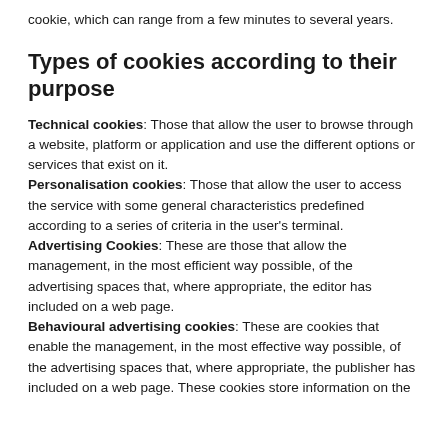cookie, which can range from a few minutes to several years.
Types of cookies according to their purpose
Technical cookies: Those that allow the user to browse through a website, platform or application and use the different options or services that exist on it.
Personalisation cookies: Those that allow the user to access the service with some general characteristics predefined according to a series of criteria in the user's terminal.
Advertising Cookies: These are those that allow the management, in the most efficient way possible, of the advertising spaces that, where appropriate, the editor has included on a web page.
Behavioural advertising cookies: These are cookies that enable the management, in the most effective way possible, of the advertising spaces that, where appropriate, the publisher has included on a web page. These cookies store information on the